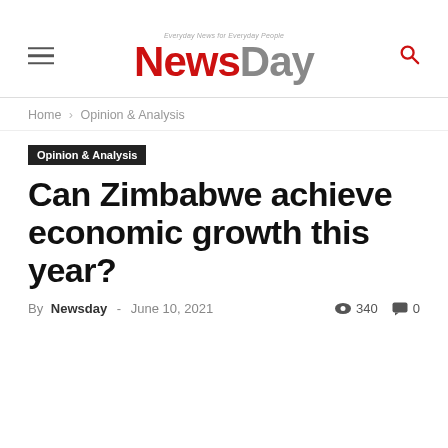NewsDay — Everyday News for Everyday People
Home › Opinion & Analysis
Opinion & Analysis
Can Zimbabwe achieve economic growth this year?
By Newsday - June 10, 2021  340  0